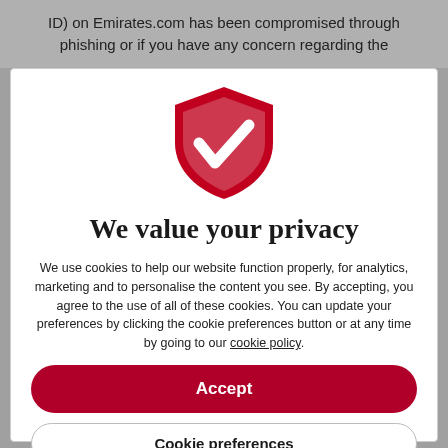ID) on Emirates.com has been compromised through phishing or if you have any concern regarding the
[Figure (logo): Red shield with white checkmark icon — privacy/security logo]
We value your privacy
We use cookies to help our website function properly, for analytics, marketing and to personalise the content you see. By accepting, you agree to the use of all of these cookies. You can update your preferences by clicking the cookie preferences button or at any time by going to our cookie policy.
Accept
Cookie preferences